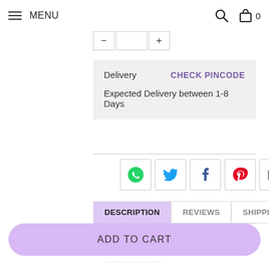MENU
[Figure (screenshot): Quantity selector buttons partially visible at top]
Delivery   CHECK PINCODE
Expected Delivery between 1-8 Days
[Figure (infographic): Social sharing icons: WhatsApp, Twitter, Facebook, Pinterest, Email]
DESCRIPTION | REVIEWS | SHIPPING
Product Specifications:
ADD TO CART